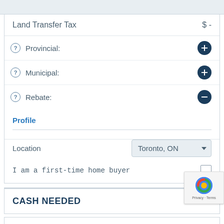Land Transfer Tax   $-
Provincial:
Municipal:
Rebate:
Profile
Location   Toronto, ON
I am a first-time home buyer
CASH NEEDED
MONTHLY EXPENSES